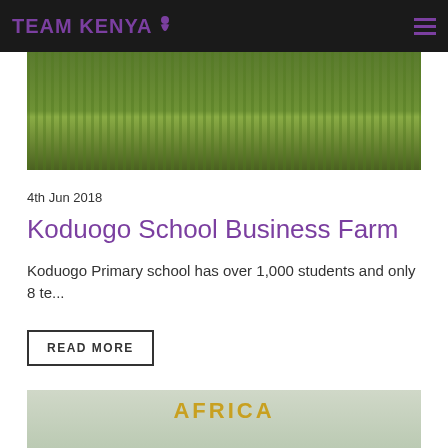TEAM KENYA
[Figure (photo): Green grassy field/lawn area photographed outdoors]
4th Jun 2018
Koduogo School Business Farm
Koduogo Primary school has over 1,000 students and only 8 te...
READ MORE
[Figure (photo): People standing in front of a wall with AFRICA text and map, smiling]